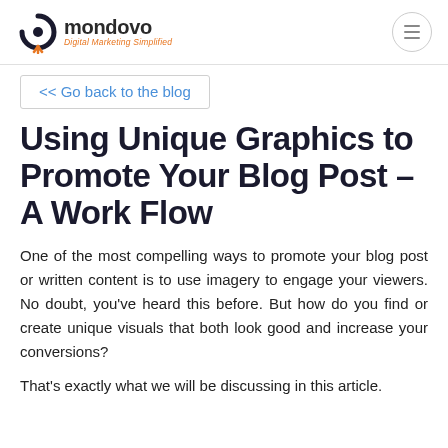mondovo – Digital Marketing Simplified
<< Go back to the blog
Using Unique Graphics to Promote Your Blog Post – A Work Flow
One of the most compelling ways to promote your blog post or written content is to use imagery to engage your viewers. No doubt, you've heard this before. But how do you find or create unique visuals that both look good and increase your conversions?
That's exactly what we will be discussing in this article.